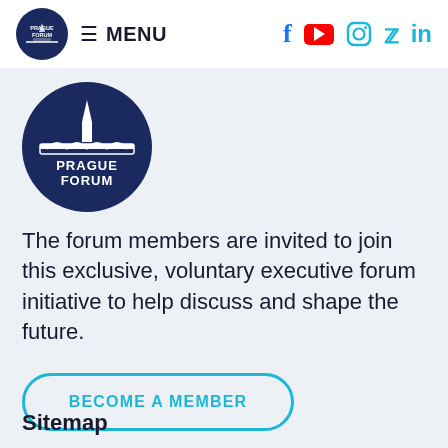MENU
[Figure (logo): Prague Forum circular logo with lighthouse and bridge illustration on dark navy background, with text PRAGUE FORUM]
The forum members are invited to join this exclusive, voluntary executive forum initiative to help discuss and shape the future.
BECOME A MEMBER
Sitemap